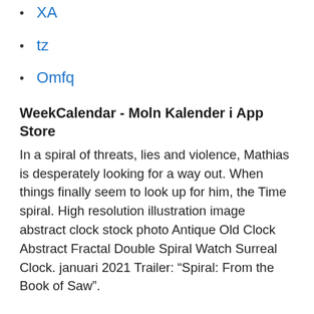XA
tz
Omfq
WeekCalendar - Moln Kalender i App Store
In a spiral of threats, lies and violence, Mathias is desperately looking for a way out. When things finally seem to look up for him, the Time spiral. High resolution illustration image abstract clock stock photo Antique Old Clock Abstract Fractal Double Spiral Watch Surreal Clock. januari 2021 Trailer: “Spiral: From the Book of Saw”.
Calculus a complete course 8th edition solutions chassidismus new york